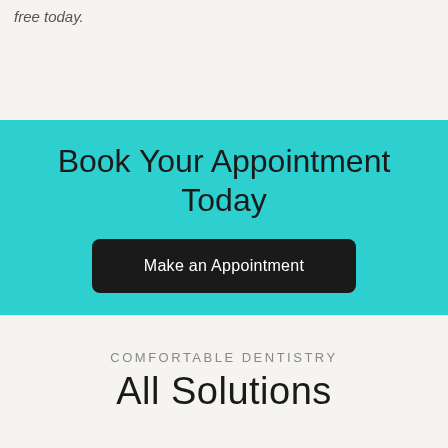free today.
Book Your Appointment Today
Make an Appointment
COMFORTABLE DENTISTRY
All Solutions